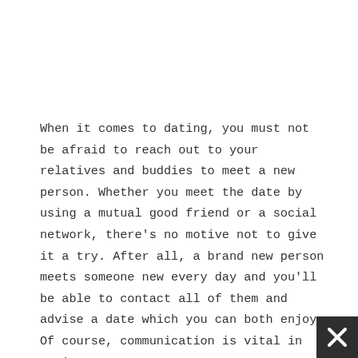When it comes to dating, you must not be afraid to reach out to your relatives and buddies to meet a new person. Whether you meet the date by using a mutual good friend or a social network, there's no motive not to give it a try. After all, a brand new person meets someone new every day and you'll be able to contact all of them and advise a date which you can both enjoy. Of course, communication is vital in seeing.